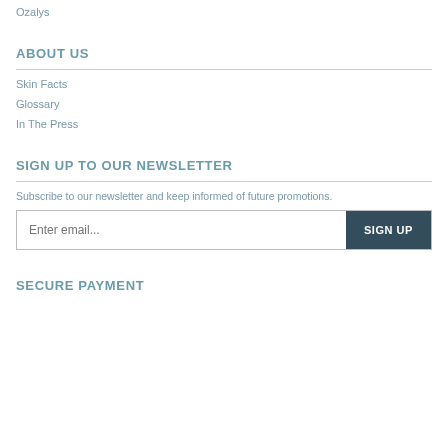Ozalys
ABOUT US
Skin Facts
Glossary
In The Press
SIGN UP TO OUR NEWSLETTER
Subscribe to our newsletter and keep informed of future promotions.
SECURE PAYMENT